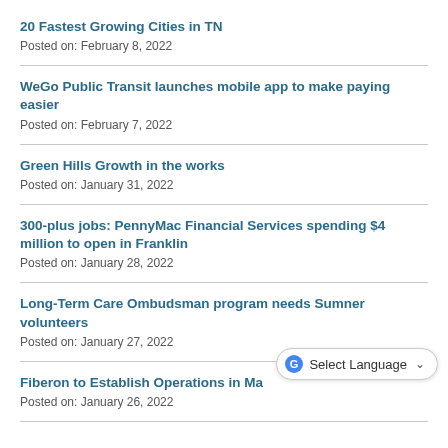20 Fastest Growing Cities in TN
Posted on: February 8, 2022
WeGo Public Transit launches mobile app to make paying easier
Posted on: February 7, 2022
Green Hills Growth in the works
Posted on: January 31, 2022
300-plus jobs: PennyMac Financial Services spending $4 million to open in Franklin
Posted on: January 28, 2022
Long-Term Care Ombudsman program needs Sumner volunteers
Posted on: January 27, 2022
Fiberon to Establish Operations in Ma[rtin]
Posted on: January 26, 2022